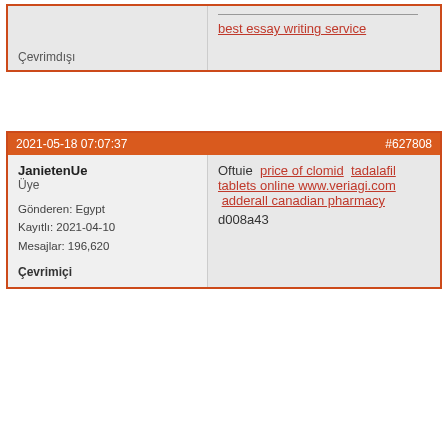|  | ___________
best essay writing service |
| Çevrimdışı |  |
| 2021-05-18 07:07:37 | #627808 |
| --- | --- |
| JanietenUe
Üye
Gönderen: Egypt
Kayıtlı: 2021-04-10
Mesajlar: 196,620

Çevrimiçi | Oftuie  price of clomid  tadalafil tablets online www.veriagi.com  adderall canadian pharmacy
d008a43 |